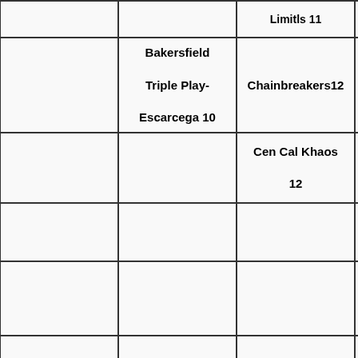|  |  | Limitls 11 |  |
|  | Bakersfield Triple Play- Escarcega 10 | Chainbreakers12 | Valley |
|  |  | Cen Cal Khaos 12 | Vegas |
|  |  |  | I-5 L |
|  |  |  | Lo Crus |
|  |  |  | So Cal |
|  |  |  |  |
|  |  |  |  |
|  |  |  |  |
|  |  |  |  |